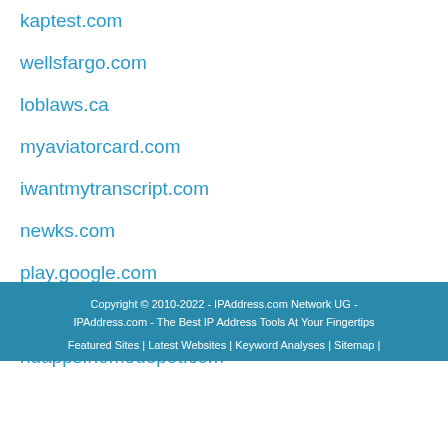kaptest.com
wellsfargo.com
loblaws.ca
myaviatorcard.com
iwantmytranscript.com
newks.com
play.google.com
bestbuy.com
hdapps.homedepot.com
Copyright © 2010-2022 - IPAddress.com Network UG - IPAddress.com - The Best IP Address Tools At Your Fingertips
Featured Sites | Latest Websites | Keyword Analyses | Sitemap |